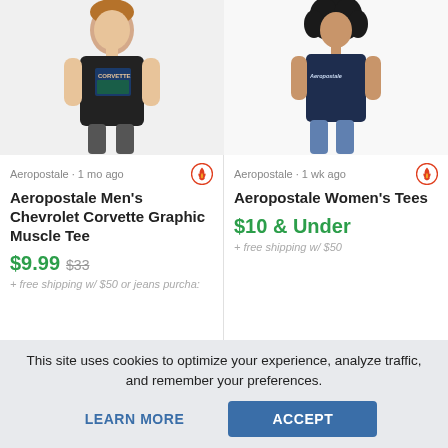[Figure (photo): Boy wearing black Aeropostale Chevrolet Corvette Graphic Muscle Tee]
[Figure (photo): Woman wearing navy blue Aeropostale Women's Tee]
Aeropostale · 1 mo ago
Aeropostale · 1 wk ago
Aeropostale Men's Chevrolet Corvette Graphic Muscle Tee
Aeropostale Women's Tees
$9.99 $33
$10 & Under
+ free shipping w/ $50 or jeans purcha:
+ free shipping w/ $50
This site uses cookies to optimize your experience, analyze traffic, and remember your preferences.
LEARN MORE
ACCEPT